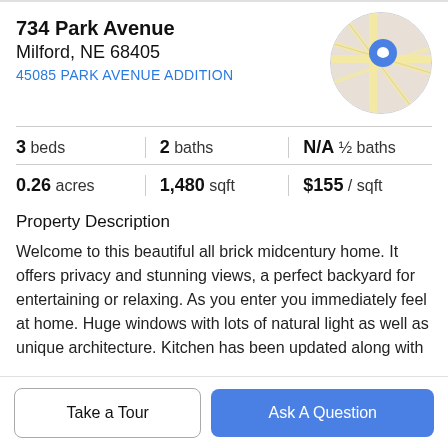734 Park Avenue
Milford, NE 68405
45085 PARK AVENUE ADDITION
[Figure (map): Circular map thumbnail showing street map with blue location pin marker]
|  |  |  |
| --- | --- | --- |
| 3 beds | 2 baths | N/A ½ baths |
| 0.26 acres | 1,480 sqft | $155 / sqft |
Property Description
Welcome to this beautiful all brick midcentury home. It offers privacy and stunning views, a perfect backyard for entertaining or relaxing. As you enter you immediately feel at home. Huge windows with lots of natural light as well as unique architecture. Kitchen has been updated along with
Take a Tour
Ask A Question